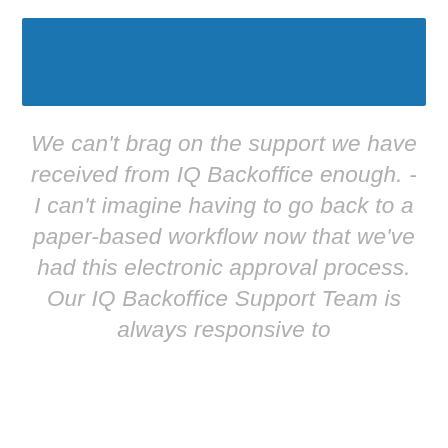[Figure (other): Blue rectangular banner/header bar]
We can't brag on the support we have received from IQ Backoffice enough. - I can't imagine having to go back to a paper-based workflow now that we've had this electronic approval process. Our IQ Backoffice Support Team is always responsive to